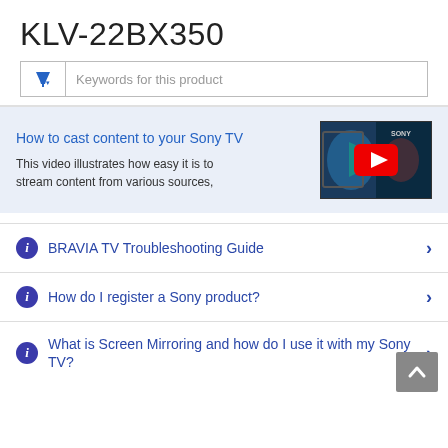KLV-22BX350
[Figure (screenshot): Search bar with filter icon and placeholder text 'Keywords for this product']
[Figure (screenshot): Video promo card: 'How to cast content to your Sony TV' with YouTube thumbnail showing colorful TV screen with play button]
This video illustrates how easy it is to stream content from various sources,
BRAVIA TV Troubleshooting Guide
How do I register a Sony product?
What is Screen Mirroring and how do I use it with my Sony TV?